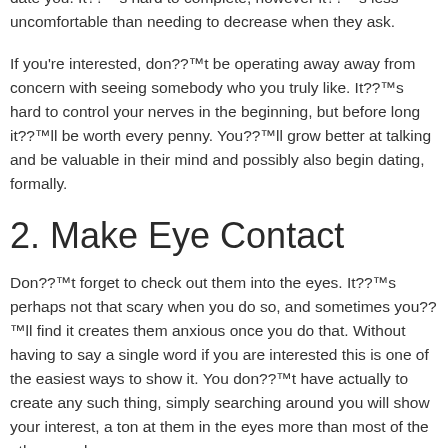will be dating some body currently or aren??™t trying to find such a thing at this time when they look like they could like to date you. It??™s hard to complete, however it??™s less uncomfortable than needing to decrease when they ask.
If you're interested, don??™t be operating away away from concern with seeing somebody who you truly like. It??™s hard to control your nerves in the beginning, but before long it??™ll be worth every penny. You??™ll grow better at talking and be valuable in their mind and possibly also begin dating, formally.
2. Make Eye Contact
Don??™t forget to check out them into the eyes. It??™s perhaps not that scary when you do so, and sometimes you??™ll find it creates them anxious once you do that. Without having to say a single word if you are interested this is one of the easiest ways to show it. You don??™t have actually to create any such thing, simply searching around you will show your interest, a ton at them in the eyes more than most of the other people.